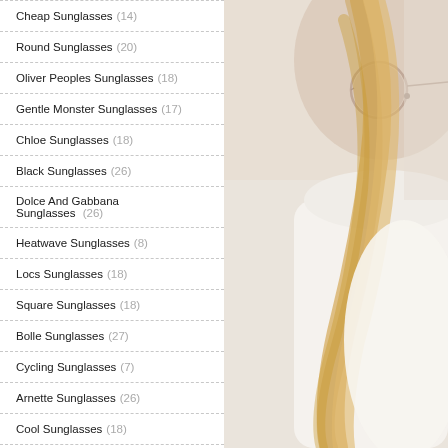Cheap Sunglasses (14)
Round Sunglasses (20)
Oliver Peoples Sunglasses (18)
Gentle Monster Sunglasses (17)
Chloe Sunglasses (18)
Black Sunglasses (26)
Dolce And Gabbana Sunglasses (26)
Heatwave Sunglasses (8)
Locs Sunglasses (18)
Square Sunglasses (18)
Bolle Sunglasses (27)
Cycling Sunglasses (7)
Arnette Sunglasses (26)
Cool Sunglasses (18)
Tom Ford Sunglasses Men (17)
[Figure (photo): A woman with long blonde hair wearing round sunglasses and a white outfit, photographed against a light background.]